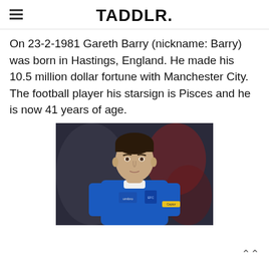TADDLR.
On 23-2-1981 Gareth Barry (nickname: Barry) was born in Hastings, England. He made his 10.5 million dollar fortune with Manchester City. The football player his starsign is Pisces and he is now 41 years of age.
[Figure (photo): Gareth Barry in a blue Everton football kit with Captain armband, dark blurred background]